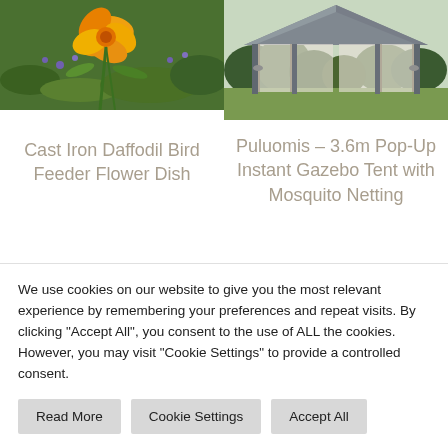[Figure (photo): Photo of orange daffodil flowers with green and purple foliage in background]
[Figure (photo): Photo of a gray gazebo tent with white mosquito netting curtains, set on a lawn with hedges in background]
Cast Iron Daffodil Bird Feeder Flower Dish
Puluomis – 3.6m Pop-Up Instant Gazebo Tent with Mosquito Netting
We use cookies on our website to give you the most relevant experience by remembering your preferences and repeat visits. By clicking "Accept All", you consent to the use of ALL the cookies. However, you may visit "Cookie Settings" to provide a controlled consent.
Read More
Cookie Settings
Accept All